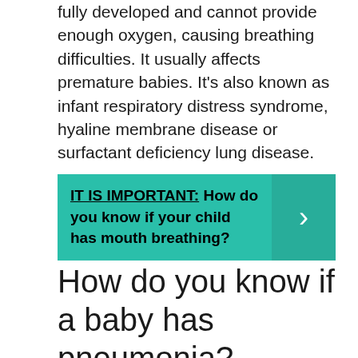fully developed and cannot provide enough oxygen, causing breathing difficulties. It usually affects premature babies. It's also known as infant respiratory distress syndrome, hyaline membrane disease or surfactant deficiency lung disease.
[Figure (infographic): Teal callout box with bold text: IT IS IMPORTANT: How do you know if your child has mouth breathing? with a right-arrow chevron on the right side.]
How do you know if a baby has pneumonia?
Typically, signs and symptoms of pneumonia include fever and cough. Some kids will also have chest pain, shortness of breath, whooping, retractions (using extra muscles...